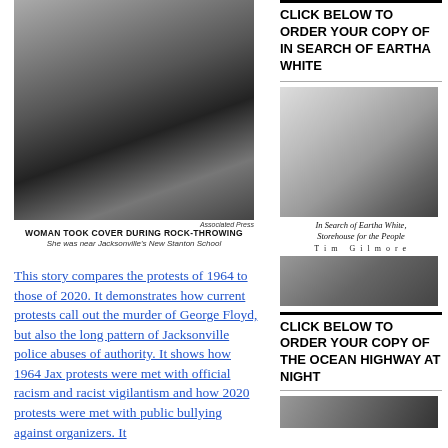[Figure (photo): Black and white photograph of a woman taking cover during rock-throwing near Jacksonville's New Stanton School]
Associated Press
WOMAN TOOK COVER DURING ROCK-THROWING
She was near Jacksonville's New Stanton School
This story compares the protests of 1964 to those of 2020. It demonstrates how current protests call out the murder of George Floyd, but also the long pattern of Jacksonville police abuses of authority. It shows how 1964 Jax protests were met with official racism and racist vigilantism and how 2020 protests were met with public bullying against organizers. It
CLICK BELOW TO ORDER YOUR COPY OF IN SEARCH OF EARTHA WHITE
[Figure (photo): Book cover image for 'In Search of Eartha White, Storehouse for the People' by Tim Gilmore — black and white photo of Eartha White as a young woman]
In Search of Eartha White, Storehouse for the People
Tim Gilmore
[Figure (photo): Lower portion of book cover image]
CLICK BELOW TO ORDER YOUR COPY OF THE OCEAN HIGHWAY AT NIGHT
[Figure (photo): Partial book cover image for The Ocean Highway at Night]